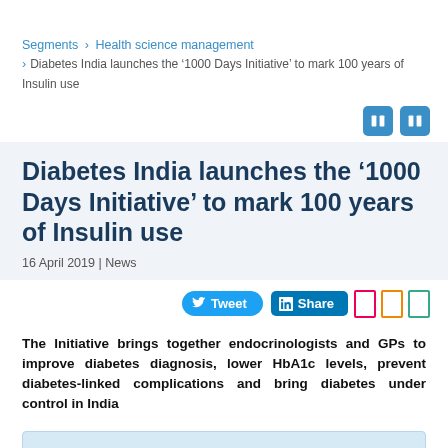Segments > Health science management > Diabetes India launches the '1000 Days Initiative' to mark 100 years of Insulin use
Diabetes India launches the '1000 Days Initiative' to mark 100 years of Insulin use
16 April 2019 | News
The Initiative brings together endocrinologists and GPs to improve diabetes diagnosis, lower HbA1c levels, prevent diabetes-linked complications and bring diabetes under control in India
[Figure (photo): Partial image strip at bottom of page, light blue background, beginning of an article image]